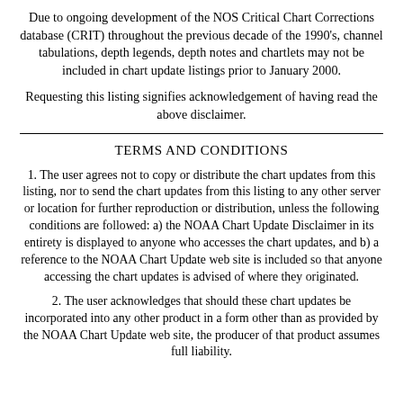Due to ongoing development of the NOS Critical Chart Corrections database (CRIT) throughout the previous decade of the 1990's, channel tabulations, depth legends, depth notes and chartlets may not be included in chart update listings prior to January 2000.
Requesting this listing signifies acknowledgement of having read the above disclaimer.
TERMS AND CONDITIONS
1. The user agrees not to copy or distribute the chart updates from this listing, nor to send the chart updates from this listing to any other server or location for further reproduction or distribution, unless the following conditions are followed: a) the NOAA Chart Update Disclaimer in its entirety is displayed to anyone who accesses the chart updates, and b) a reference to the NOAA Chart Update web site is included so that anyone accessing the chart updates is advised of where they originated.
2. The user acknowledges that should these chart updates be incorporated into any other product in a form other than as provided by the NOAA Chart Update web site, the producer of that product assumes full liability.